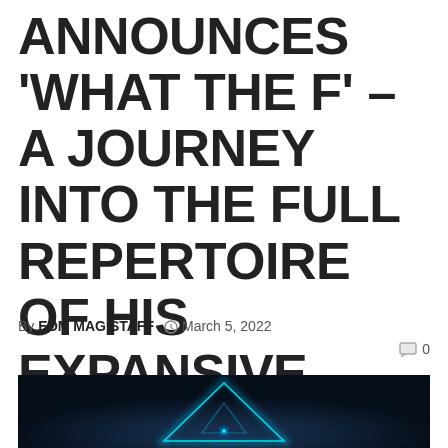ANNOUNCES 'WHAT THE F' – A JOURNEY INTO THE FULL REPERTOIRE OF HIS EXPANSIVE WORK!
By EDM MAG STAFF  March 5, 2022
[Figure (photo): Dark blue atmospheric photo showing a glowing blue triangular/diamond shaped structure with neon blue outlines against a dark background]